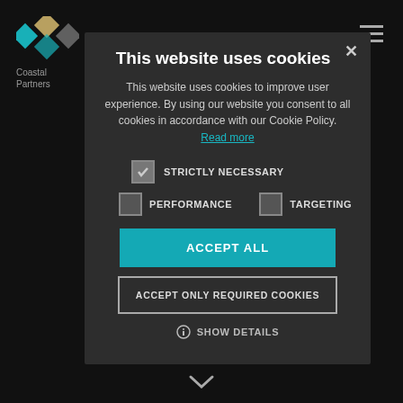[Figure (logo): Coastal Partners diamond logo and text on dark background]
This website uses cookies
This website uses cookies to improve user experience. By using our website you consent to all cookies in accordance with our Cookie Policy. Read more
STRICTLY NECESSARY (checked)
PERFORMANCE (unchecked)
TARGETING (unchecked)
ACCEPT ALL
ACCEPT ONLY REQUIRED COOKIES
SHOW DETAILS